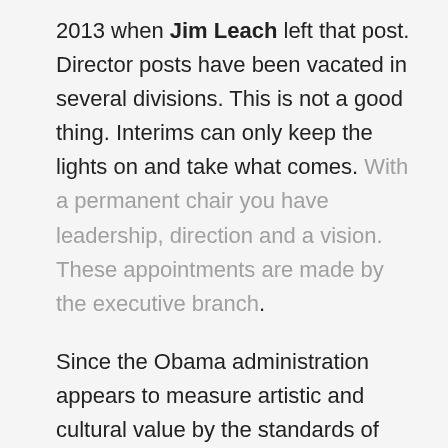2013 when Jim Leach left that post. Director posts have been vacated in several divisions. This is not a good thing. Interims can only keep the lights on and take what comes. With a permanent chair you have leadership, direction and a vision. These appointments are made by the executive branch. Since the Obama administration appears to measure artistic and cultural value by the standards of Twitter and Facebook algorithms, my recommendation would be a celebrity to fill one or both of the endowment posts for the next two years. Actor Jane Alexander was a fantastic chair of the National Endowment for the Arts during the Clinton administration from 1993 – 1997. And a capable one.